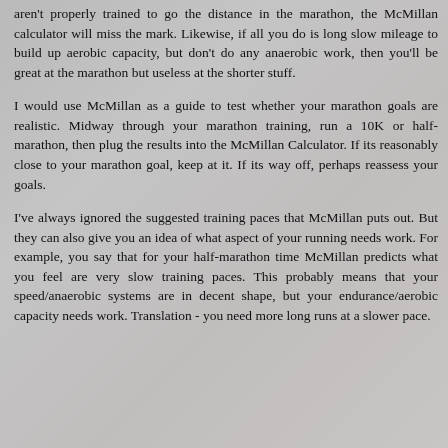aren't properly trained to go the distance in the marathon, the McMillan calculator will miss the mark. Likewise, if all you do is long slow mileage to build up aerobic capacity, but don't do any anaerobic work, then you'll be great at the marathon but useless at the shorter stuff.
I would use McMillan as a guide to test whether your marathon goals are realistic. Midway through your marathon training, run a 10K or half-marathon, then plug the results into the McMillan Calculator. If its reasonably close to your marathon goal, keep at it. If its way off, perhaps reassess your goals.
I've always ignored the suggested training paces that McMillan puts out. But they can also give you an idea of what aspect of your running needs work. For example, you say that for your half-marathon time McMillan predicts what you feel are very slow training paces. This probably means that your speed/anaerobic systems are in decent shape, but your endurance/aerobic capacity needs work. Translation - you need more long runs at a slower pace.